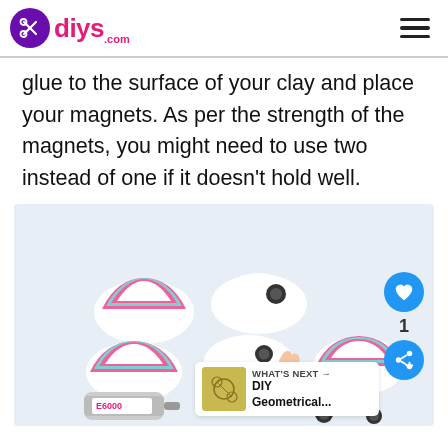diys.com
glue to the surface of your clay and place your magnets. As per the strength of the magnets, you might need to use two instead of one if it doesn't hold well.
[Figure (photo): Photo showing colorful clay semicircle magnets with small round black magnets being glued on with E6000 adhesive. A hand is placing a magnet on one of the white clay pieces. Several finished and in-progress magnet pieces are visible on a white surface. Social interaction buttons (heart/like and share) visible on the right side. A 'WHAT'S NEXT' thumbnail for 'DIY Geometrical...' is shown in the bottom right corner.]